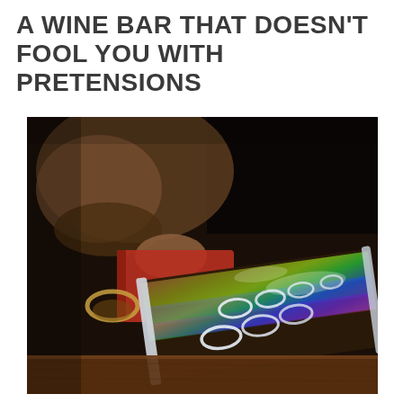A WINE BAR THAT DOESN'T FOOL YOU WITH PRETENSIONS
[Figure (photo): Close-up photo of a colorful iridescent wine bottle holder/rack with rainbow light reflections, set on a wooden surface. A hand holding a red book and someone's brown shoes are visible in the dark background.]